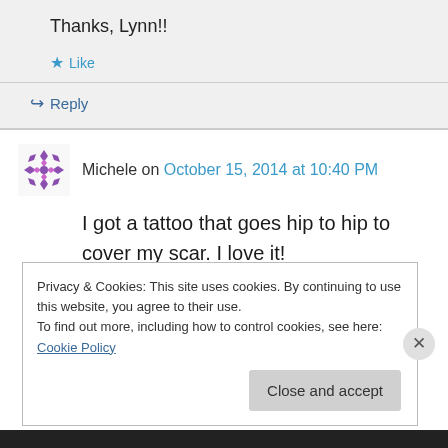Thanks, Lynn!!
★ Like
↪ Reply
Michele on October 15, 2014 at 10:40 PM
I got a tattoo that goes hip to hip to cover my scar. I love it!
★ Like
Privacy & Cookies: This site uses cookies. By continuing to use this website, you agree to their use.
To find out more, including how to control cookies, see here: Cookie Policy
Close and accept